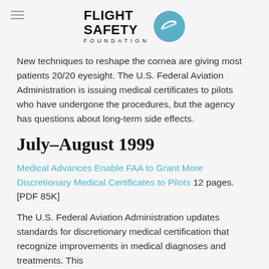FLIGHT SAFETY FOUNDATION
New techniques to reshape the cornea are giving most patients 20/20 eyesight. The U.S. Federal Aviation Administration is issuing medical certificates to pilots who have undergone the procedures, but the agency has questions about long-term side effects.
July–August 1999
Medical Advances Enable FAA to Grant More Discretionary Medical Certificates to Pilots 12 pages. [PDF 85K]
The U.S. Federal Aviation Administration updates standards for discretionary medical certification that recognize improvements in medical diagnoses and treatments. This